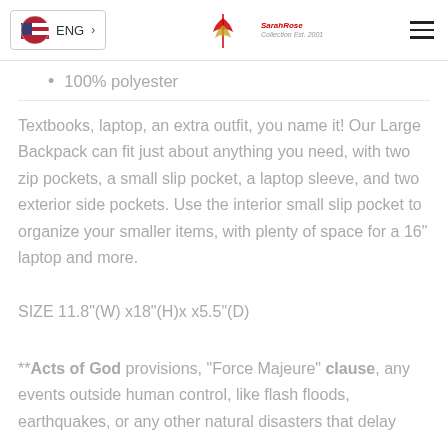ENG | Logo | Hamburger menu
100% polyester
Textbooks, laptop, an extra outfit, you name it! Our Large Backpack can fit just about anything you need, with two zip pockets, a small slip pocket, a laptop sleeve, and two exterior side pockets. Use the interior small slip pocket to organize your smaller items, with plenty of space for a 16" laptop and more.
SIZE 11.8"(W) x18"(H)x x5.5"(D)
**Acts of God provisions, "Force Majeure" clause, any events outside human control, like flash floods, earthquakes, or any other natural disasters that delay